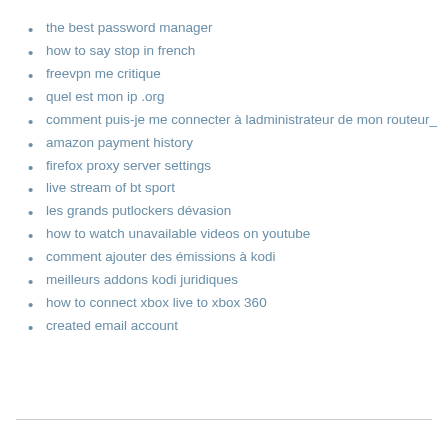the best password manager
how to say stop in french
freevpn me critique
quel est mon ip .org
comment puis-je me connecter à ladministrateur de mon routeur_
amazon payment history
firefox proxy server settings
live stream of bt sport
les grands putlockers dévasion
how to watch unavailable videos on youtube
comment ajouter des émissions à kodi
meilleurs addons kodi juridiques
how to connect xbox live to xbox 360
created email account